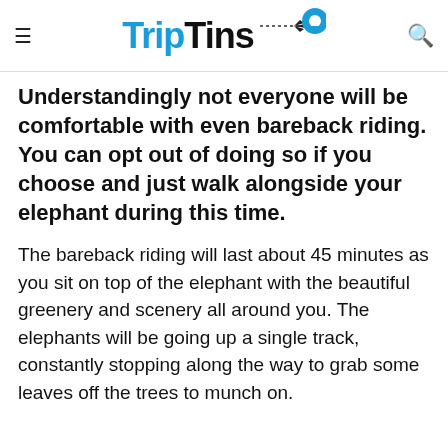TripTins
Understandingly not everyone will be comfortable with even bareback riding. You can opt out of doing so if you choose and just walk alongside your elephant during this time.
The bareback riding will last about 45 minutes as you sit on top of the elephant with the beautiful greenery and scenery all around you. The elephants will be going up a single track, constantly stopping along the way to grab some leaves off the trees to munch on.